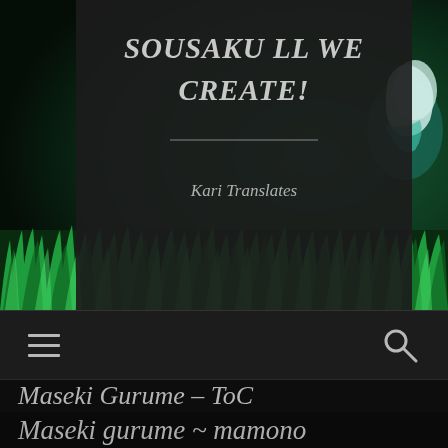[Figure (illustration): Website header with dark semi-transparent box over a green grassy background with anime-style character visible on the right. The dark box contains the site title 'SOUSAKU LL WE CREATE!' in bold italic, a horizontal divider line, and the subtitle 'Kari Translates' in italic.]
SOUSAKU LL WE CREATE!
Kari Translates
Navigation bar with hamburger menu icon and search icon
Maseki Gurume – ToC
Maseki gurume ~ mamono